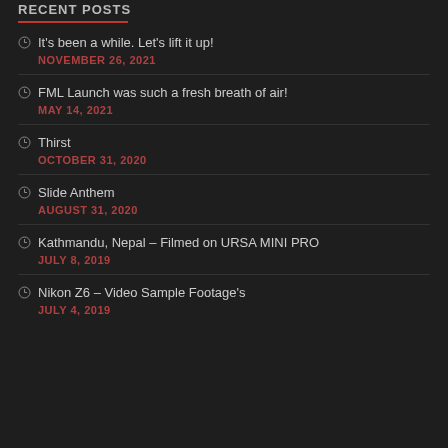RECENT POSTS
It's been a while. Let's lift it up! — NOVEMBER 26, 2021
FML Launch was such a fresh breath of air! — MAY 14, 2021
Thirst — OCTOBER 31, 2020
Slide Anthem — AUGUST 31, 2020
Kathmandu, Nepal – Filmed on URSA MINI PRO — JULY 8, 2019
Nikon Z6 – Video Sample Footage's — JULY 4, 2019